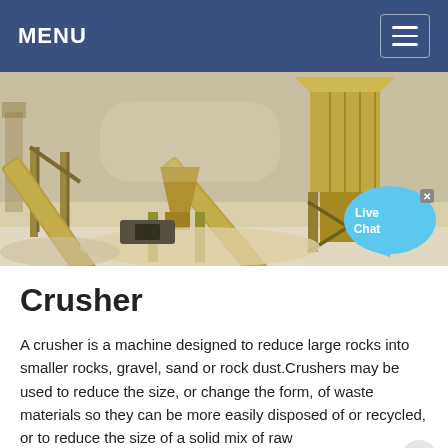MENU
[Figure (photo): Industrial crusher / aggregate processing plant with yellow conveyor belts, hoppers, and support structures at a quarry or mining site. A 'Live Chat' speech bubble overlay appears in the bottom-right corner.]
Crusher
A crusher is a machine designed to reduce large rocks into smaller rocks, gravel, sand or rock dust.Crushers may be used to reduce the size, or change the form, of waste materials so they can be more easily disposed of or recycled, or to reduce the size of a solid mix of raw